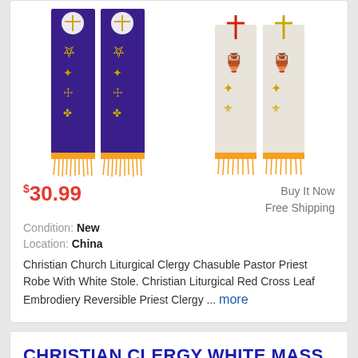[Figure (photo): Two purple liturgical stoles with gold embroidered religious figures and orange fringe at bottom, and two white/cream liturgical stoles with gold and red cross embroidery and orange fringe at bottom.]
$30.99
Buy It Now
Free Shipping
Condition: New
Location: China
Christian Church Liturgical Clergy Chasuble Pastor Priest Robe With White Stole. Christian Liturgical Red Cross Leaf Embrodiery Reversible Priest Clergy ... more
CHRISTIAN CLERGY WHITE MASS STOLE PRIEST WEDDING STOLE CROSS